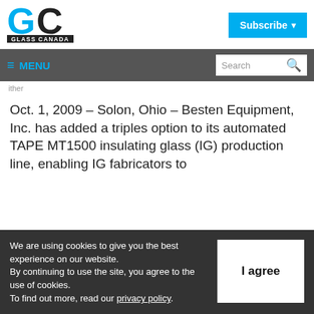[Figure (logo): Glass Canada magazine logo - GC letters with blue and black styling, with 'GLASS CANADA' text below]
Subscribe
≡ MENU  Search
ither
Oct. 1, 2009 – Solon, Ohio – Besten Equipment, Inc. has added a triples option to its automated TAPE MT1500 insulating glass (IG) production line, enabling IG fabricators to
We are using cookies to give you the best experience on our website. By continuing to use the site, you agree to the use of cookies. To find out more, read our privacy policy.